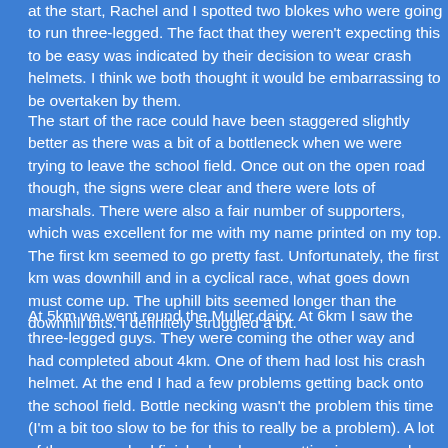at the start, Rachel and I spotted two blokes who were going to run three-legged. The fact that they weren't expecting this to be easy was indicated by their decision to wear crash helmets. I think we both thought it would be embarrassing to be overtaken by them.
The start of the race could have been staggered slightly better as there was a bit of a bottleneck when we were trying to leave the school field. Once out on the open road though, the signs were clear and there were lots of marshals. There were also a fair number of supporters, which was excellent for me with my name printed on my top. The first km seemed to go pretty fast. Unfortunately, the first km was downhill and in a cyclical race, what goes down must come up. The uphill bits seemed longer than the downhill bits. I definitely struggled a bit.
At 5km we went round the Muller dairy. At 6km I saw the three-legged guys. They were coming the other way and had completed about 4km. One of them had lost his crash helmet. At the end I had a few problems getting back onto the school field. Bottle necking wasn't the problem this time (I'm a bit too slow to be for this to really be a problem). A lot of the runners had finished and were getting in my way by leaving the field. I glared at them with their trays of yoghurts, but